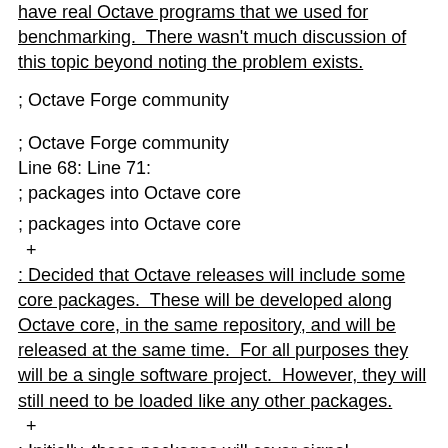have real Octave programs that we used for benchmarking.  There wasn't much discussion of this topic beyond noting the problem exists.
; Octave Forge community
; Octave Forge community
Line 68: Line 71:
; packages into Octave core
; packages into Octave core
 +
: Decided that Octave releases will include some core packages.  These will be developed along Octave core, in the same repository, and will be released at the same time.  For all purposes they will be a single software project.  However, they will still need to be loaded like any other packages.
 +
: Initially, these packages will cover signal processing,